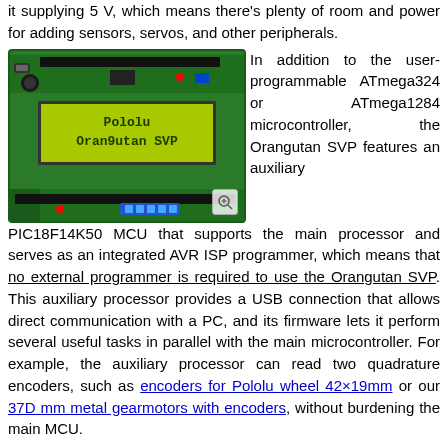it supplying 5 V, which means there's plenty of room and power for adding sensors, servos, and other peripherals.
[Figure (photo): Photo of a Pololu Orangutan SVP microcontroller board with a green PCB, LCD screen displaying 'Pololu Orangutan SVP', and various connectors and components]
In addition to the user-programmable ATmega324 or ATmega1284 microcontroller, the Orangutan SVP features an auxiliary PIC18F14K50 MCU that supports the main processor and serves as an integrated AVR ISP programmer, which means that no external programmer is required to use the Orangutan SVP. This auxiliary processor provides a USB connection that allows direct communication with a PC, and its firmware lets it perform several useful tasks in parallel with the main microcontroller. For example, the auxiliary processor can read two quadrature encoders, such as encoders for Pololu wheel 42×19mm or our 37D mm metal gearmotors with encoders, without burdening the main MCU.